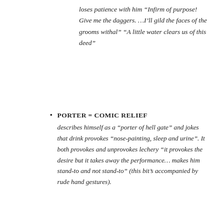loses patience with him “Infirm of purpose! Give me the daggers. …I’ll gild the faces of the grooms withal” “A little water clears us of this deed”
PORTER = COMIC RELIEF describes himself as a “porter of hell gate” and jokes that drink provokes “nose-painting, sleep and urine”. It both provokes and unprovokes lechery “it provokes the desire but it takes away the performance… makes him stand-to and not stand-to” (this bit’s accompanied by rude hand gestures).